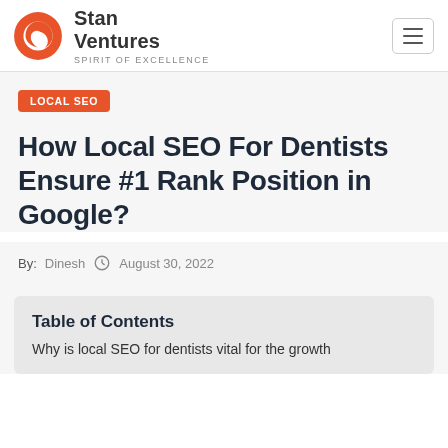Stan Ventures – Spirit Of Excellence
LOCAL SEO
How Local SEO For Dentists Ensure #1 Rank Position in Google?
By: Dinesh  August 30, 2022
Table of Contents
Why is local SEO for dentists vital for the growth